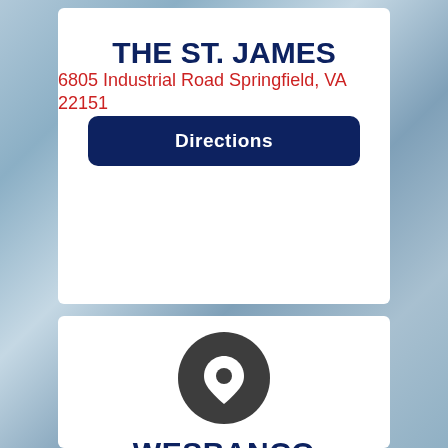THE ST. JAMES
6805 Industrial Road Springfield, VA 22151
Directions
[Figure (illustration): Dark circular location pin icon on white background]
WESBANCO